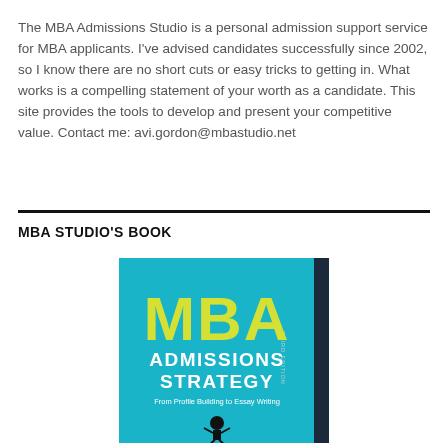The MBA Admissions Studio is a personal admission support service for MBA applicants. I've advised candidates successfully since 2002, so I know there are no short cuts or easy tricks to getting in. What works is a compelling statement of your worth as a candidate. This site provides the tools to develop and present your competitive value. Contact me: avi.gordon@mbastudio.net
MBA STUDIO'S BOOK
[Figure (illustration): Book cover of 'MBA Admissions Strategy: From Profile Building to Essay Writing', Third Edition. Teal/cyan background with large yellow 'MBA' text and white 'ADMISSIONS STRATEGY' text below. Subtitle reads 'From Profile Building to Essay Writing'. A small figure silhouette at the bottom center. Dark navy spine on the right side with 'THIRD EDITION' text.]